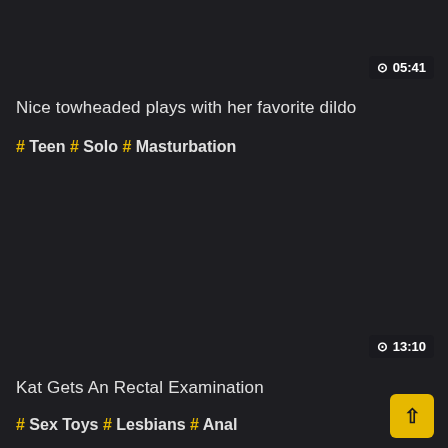⊙ 05:41
Nice towheaded plays with her favorite dildo
# Teen # Solo # Masturbation
⊙ 13:10
Kat Gets An Rectal Examination
# Sex Toys # Lesbians # Anal